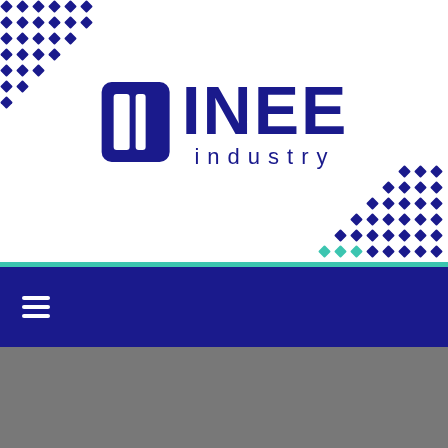[Figure (logo): INEE Industry logo: dark navy blue square icon with white rectangular window shape on left, followed by bold navy text 'INEE' with 'industry' in smaller spaced letters below. Decorative blue diamond dot grid patterns in top-left and bottom-right corners. Teal horizontal accent line, dark navy navigation bar with hamburger menu icon, gray section at bottom.]